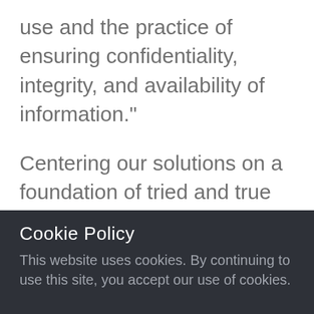use and the practice of ensuring confidentiality, integrity, and availability of information."
Centering our solutions on a foundation of tried and true protection-based methodologies, we integrate regulatory statutes and national policies, industry best
Cookie Policy
This website uses cookies. By continuing to use this site, you accept our use of cookies.